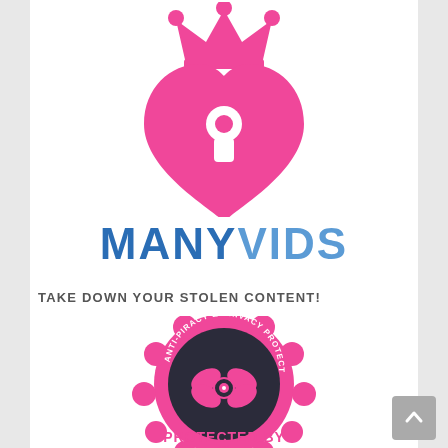[Figure (logo): ManyVids logo: pink heart with keyhole and pink crown above, with 'MANYVIDS' text in blue below]
TAKE DOWN YOUR STOLEN CONTENT!
[Figure (logo): Anti-Piracy & Privacy Protection badge in pink and dark color with 'PROTECTED BY' text below]